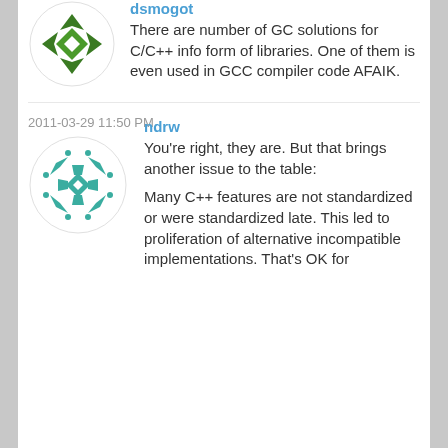[Figure (illustration): Green angular diamond/arrow logo avatar for user dsmogot]
dsmogot
There are number of GC solutions for C/C++ info form of libraries. One of them is even used in GCC compiler code AFAIK.
2011-03-29 11:50 PM
[Figure (illustration): Teal/green snowflake-like decorative geometric avatar for user ndrw]
ndrw
You're right, they are. But that brings another issue to the table:
Many C++ features are not standardized or were standardized late. This led to proliferation of alternative incompatible implementations. That's OK for